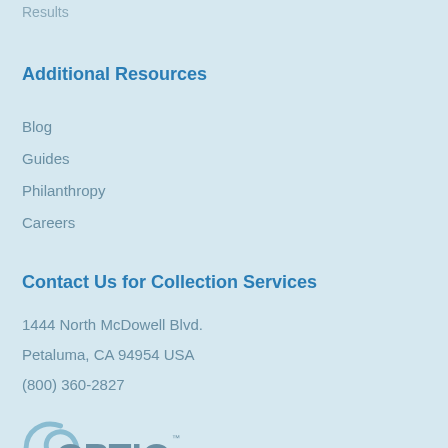Results
Additional Resources
Blog
Guides
Philanthropy
Careers
Contact Us for Collection Services
1444 North McDowell Blvd.
Petaluma, CA 94954 USA
(800) 360-2827
[Figure (logo): Optio Solutions, LLC. company logo with swirl graphic]